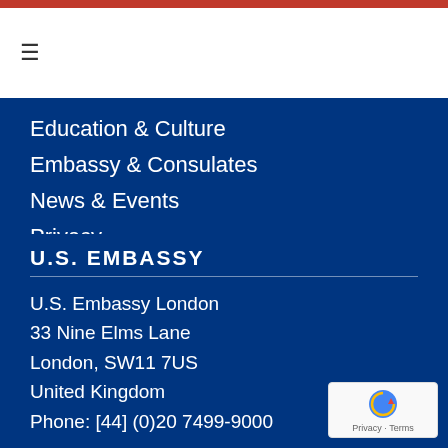≡
Education & Culture
Embassy & Consulates
News & Events
Privacy
Sitemap
U.S. EMBASSY
U.S. Embassy London
33 Nine Elms Lane
London, SW11 7US
United Kingdom
Phone: [44] (0)20 7499-9000